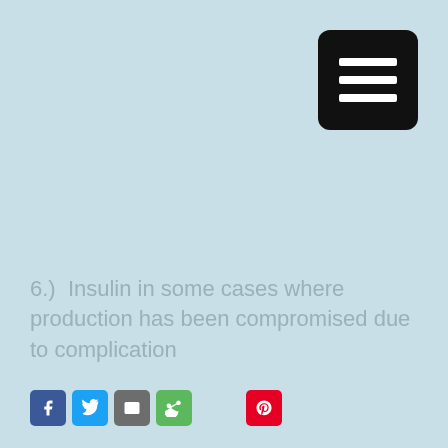[Figure (other): Black rounded rectangle menu button with three white horizontal bars (hamburger icon) in the top-right corner]
6.)  Insulin in some cases where production has been compromised due to complication
[Figure (other): Social media sharing icons: Facebook (blue), Twitter (blue), Email (gray), Share (green), Pinterest (red)]